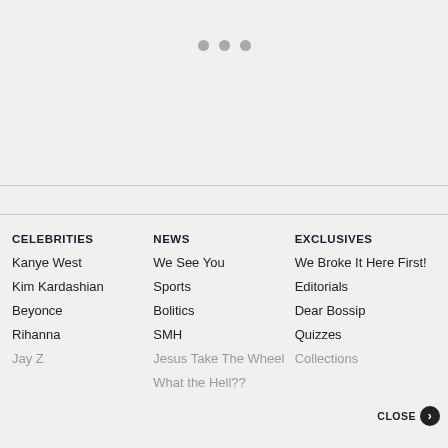[Figure (other): Three gray dots loading indicator centered in the upper area of the page]
CELEBRITIES
Kanye West
Kim Kardashian
Beyonce
Rihanna
Jay Z
NEWS
We See You
Sports
Bolitics
SMH
Jesus Take The Wheel
What the Hell??
EXCLUSIVES
We Broke It Here First!
Editorials
Dear Bossip
Quizzes
Collections